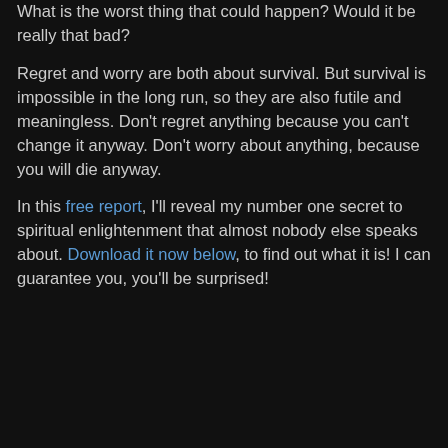What is the worst thing that could happen? Would it be really that bad?
Regret and worry are both about survival. But survival is impossible in the long run, so they are also futile and meaningless. Don't regret anything because you can't change it anyway. Don't worry about anything, because you will die anyway.
In this free report, I'll reveal my number one secret to spiritual enlightenment that almost nobody else speaks about. Download it now below, to find out what it is! I can guarantee you, you'll be surprised!